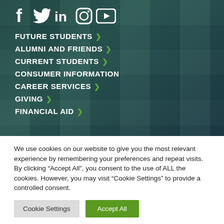[Figure (illustration): Social media icons row: Facebook (f), Twitter (bird), LinkedIn (in), Instagram (camera), YouTube (play button) — all white on dark teal building background]
FUTURE STUDENTS >
ALUMNI AND FRIENDS >
CURRENT STUDENTS >
CONSUMER INFORMATION
CAREER SERVICES >
GIVING >
FINANCIAL AID >
We use cookies on our website to give you the most relevant experience by remembering your preferences and repeat visits. By clicking “Accept All”, you consent to the use of ALL the cookies. However, you may visit “Cookie Settings” to provide a controlled consent.
Cookie Settings | Accept All